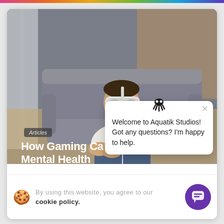[Figure (photo): Man sitting on grey sofa wearing white VR headset, meditating pose, indoor setting with curtains and wooden wall]
Articles
How Gaming Ca... Mental Health
Welcome to Aquatik Studios! Got any questions? I'm happy to help.
By using this website, you agree to our cookie policy.